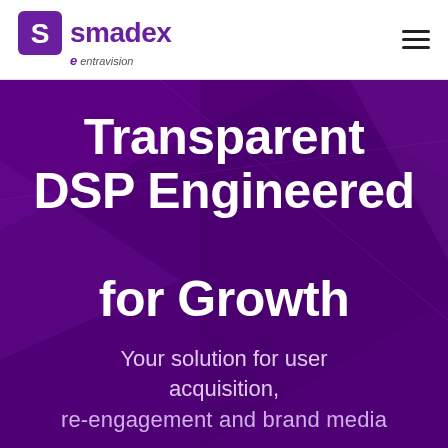smadex by entravision
Transparent DSP Engineered for Growth
Your solution for user acquisition,
re-engagement and brand media